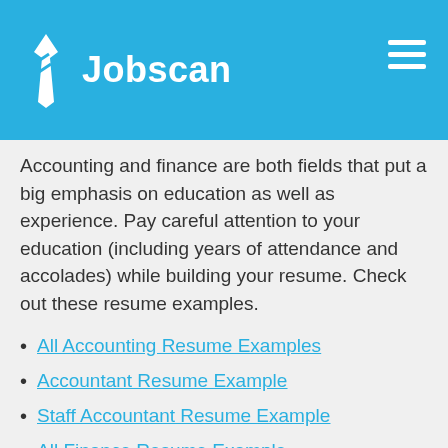Jobscan
Accounting and finance are both fields that put a big emphasis on education as well as experience. Pay careful attention to your education (including years of attendance and accolades) while building your resume. Check out these resume examples.
All Accounting Resume Examples
Accountant Resume Example
Staff Accountant Resume Example
All Finance Resume Example
Financial Advisor Resume Example
Financial Analyst Resume Example
Bank Teller Resume Example